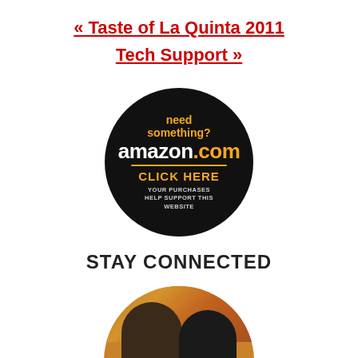« Taste of La Quinta 2011
Tech Support »
[Figure (illustration): Amazon.com circular badge on black background with text: 'need something? amazon.com CLICK HERE YOUR PURCHASES HELP SUPPORT THIS WEBSITE']
STAY CONNECTED
[Figure (photo): Circular cropped photo of two people — a woman with dark curly hair and sunglasses on the left, and a man on the right — with a reddish-brown rocky landscape background]